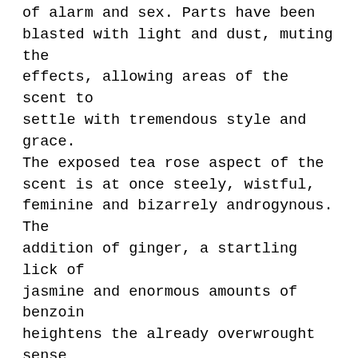of alarm and sex. Parts have been blasted with light and dust, muting the effects, allowing areas of the scent to settle with tremendous style and grace. The exposed tea rose aspect of the scent is at once steely, wistful, feminine and bizarrely androgynous. The addition of ginger, a startling lick of jasmine and enormous amounts of benzoin heightens the already overwrought sense of unease the fragrance builds on the skin.
In her desire to create an ultimate rose scent, Rossy de Palma has initiated something daring and sublimely deep. Soft and needy, feminine and palpable but at the same time barbed and savage. The uncomfortable truth of love is pain